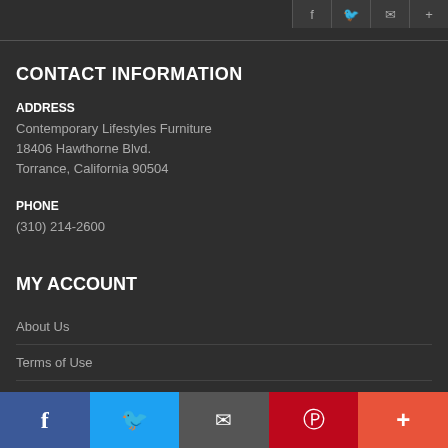Social media icon buttons row at top
CONTACT INFORMATION
ADDRESS
Contemporary Lifestyles Furniture
18406 Hawthorne Blvd.
Torrance, California 90504
PHONE
(310) 214-2600
MY ACCOUNT
About Us
Terms of Use
Contact Us
My Account
Social share bar: Facebook, Twitter, Email, Pinterest, More